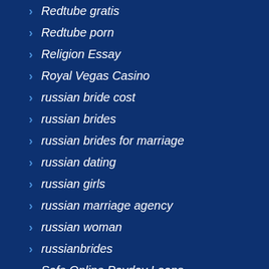Redtube gratis
Redtube porn
Religion Essay
Royal Vegas Casino
russian bride cost
russian brides
russian brides for marriage
russian dating
russian girls
russian marriage agency
russian woman
russianbrides
Safe Online Payday Loans